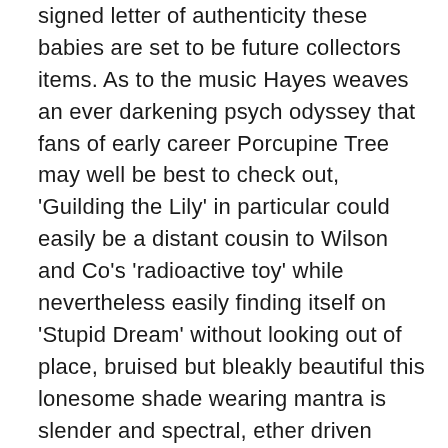signed letter of authenticity these babies are set to be future collectors items. As to the music Hayes weaves an ever darkening psych odyssey that fans of early career Porcupine Tree may well be best to check out, 'Guilding the Lily' in particular could easily be a distant cousin to Wilson and Co's 'radioactive toy' while nevertheless easily finding itself on 'Stupid Dream' without looking out of place, bruised but bleakly beautiful this lonesome shade wearing mantra is slender and spectral, ether driven vocals and looping lysergically daubed cosmic interfaces endow this gem with a quietly epic grace while 'where now earthman' is very Levitation in texture and appeal, a swirling wig flipping beauty that retunes itself at key intervals into streams of Beatles-esque interference bled through by minimalist woven ominous omnipresent overtures. Frankly we need to hear more.